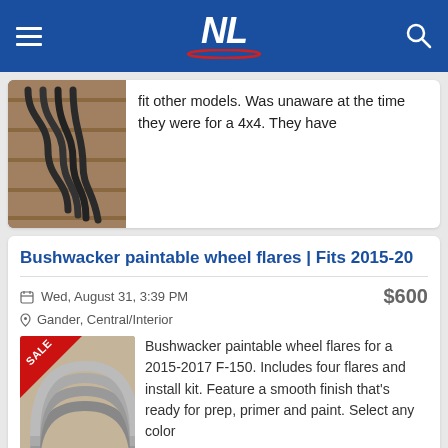NL
fit other models. Was unaware at the time they were for a 4x4. They have
Bushwacker paintable wheel flares | Fits 2015-20
Wed, August 31, 3:39 PM
$600
Gander, Central/Interior
Bushwacker paintable wheel flares for a 2015-2017 F-150. Includes four flares and install kit. Feature a smooth finish that's ready for prep, primer and paint. Select any color
Toyota Tacoma Genuine Toyota Accessory PT27x
Tue, August 9, 10:04 AM
$80